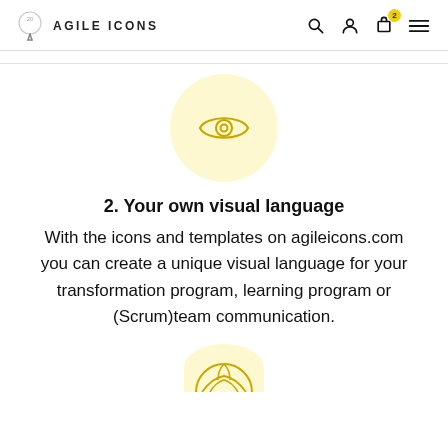AGILE ICONS
[Figure (illustration): Eye icon inside a light yellow circle — representing vision or visual language]
2. Your own visual language
With the icons and templates on agileicons.com you can create a unique visual language for your transformation program, learning program or (Scrum)team communication.
[Figure (illustration): Partial brain/globe icon inside a light yellow circle — bottom of page, partially cut off]